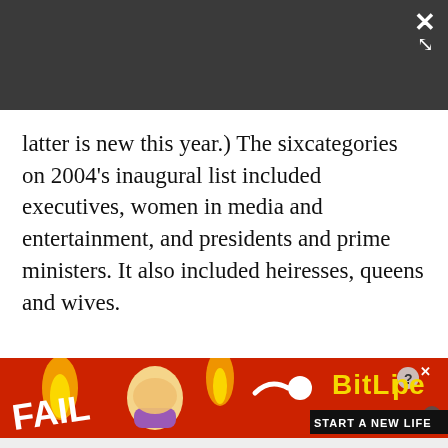latter is new this year.) The sixcategories on 2004's inaugural list included executives, women in media and entertainment, and presidents and prime ministers. It also included heiresses, queens and wives.
[Figure (illustration): Advertisement banner for BitLife game. Red background with 'FAIL' text, cartoon character facepalming, flame graphic, sperm icon, BitLife logo in yellow, and 'START A NEW LIFE' slogan in black bar.]